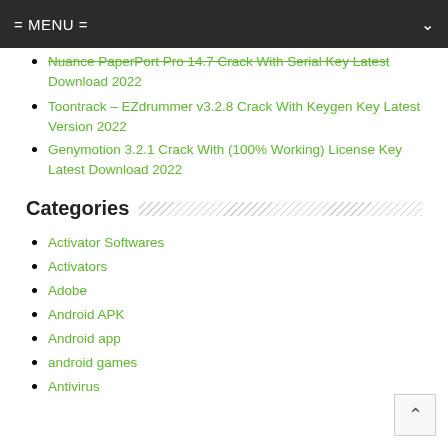= MENU =
Nuance PaperPort Pro 14.7 Crack With Serial Key Latest Download 2022
Toontrack – EZdrummer v3.2.8 Crack With Keygen Key Latest Version 2022
Genymotion 3.2.1 Crack With (100% Working) License Key Latest Download 2022
Categories
Activator Softwares
Activators
Adobe
Android APK
Android app
android games
Antivirus